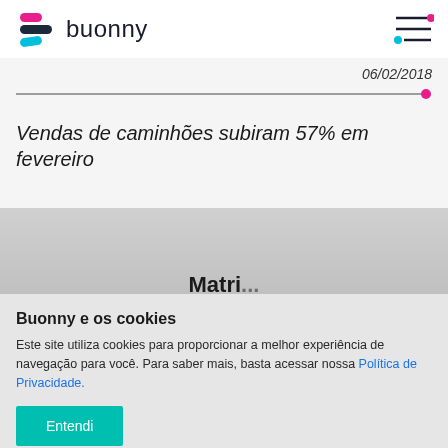buonny
06/02/2018
Vendas de caminhões subiram 57% em fevereiro
[Figure (screenshot): Partially visible content section with gray background and cropped heading text 'Matri...']
Buonny e os cookies
Este site utiliza cookies para proporcionar a melhor experiência de navegação para você. Para saber mais, basta acessar nossa Política de Privacidade.
Entendi